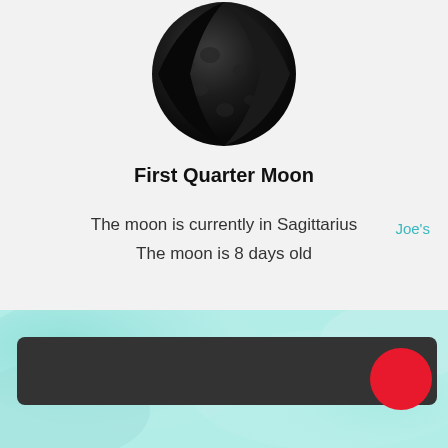[Figure (illustration): Photo of the First Quarter Moon — a dark, partially illuminated moon showing the right half lit]
First Quarter Moon
The moon is currently in Sagittarius
The moon is 8 days old
Joe's
[Figure (infographic): Watercolor teal/mint background with a dark gray rounded rectangle bar and a red circle on the right side — appears to be a UI control or slider element]